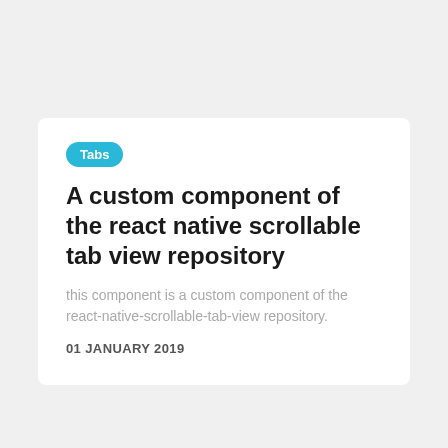Tabs
A custom component of the react native scrollable tab view repository
this component is a custom component of the react-native-scrollable-tab-view repository.
01 JANUARY 2019